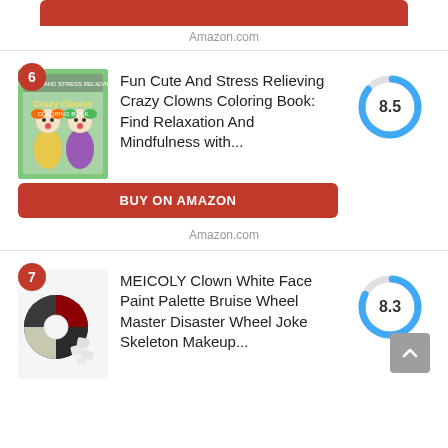[Figure (other): Red Buy on Amazon button (partial, top)]
Amazon.com
[Figure (other): Product listing #6: Fun Cute And Stress Relieving Crazy Clowns Coloring Book with score 8.5 donut chart]
Fun Cute And Stress Relieving Crazy Clowns Coloring Book: Find Relaxation And Mindfulness with...
BUY ON AMAZON
Amazon.com
[Figure (other): Product listing #7: MEICOLY Clown White Face Paint Palette Bruise Wheel Master Disaster Wheel Joke Skeleton Makeup... with score 8.3 donut chart]